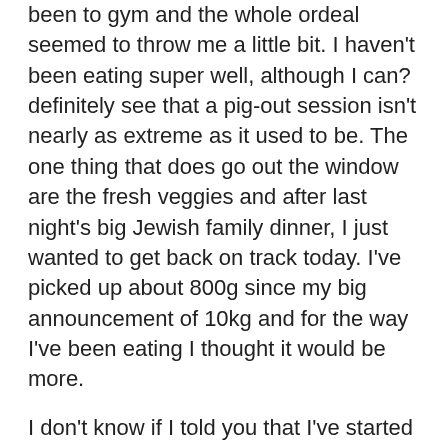been to gym and the whole ordeal seemed to throw me a little bit. I haven't been eating super well, although I can?definitely see that a pig-out session isn't nearly as extreme as it used to be. The one thing that does go out the window are the fresh veggies and after last night's big Jewish family dinner, I just wanted to get back on track today. I've picked up about 800g since my big announcement of 10kg and for the way I've been eating I thought it would be more.
I don't know if I told you that I've started to weight myself every morning. I've gone from being petrified of the scale to making friends with it and letting it help me work on my mindset. That's how I didn't pick up fortunes in the past 2 or so weeks. So I'm slowly feeling back to healthy, clean eating and just need an extra day